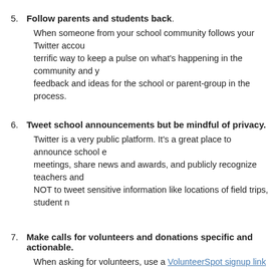5. Follow parents and students back. When someone from your school community follows your Twitter account, follow them back. It's a terrific way to keep a pulse on what's happening in the community and you might just pick up some valuable feedback and ideas for the school or parent-group in the process.
6. Tweet school announcements but be mindful of privacy. Twitter is a very public platform. It's a great place to announce school events, upcoming meetings, share news and awards, and publicly recognize teachers and staff. But be careful NOT to tweet sensitive information like locations of field trips, student names, etc.
7. Make calls for volunteers and donations specific and actionable. When asking for volunteers, use a VolunteerSpot signup link so volunteers can sign up for a specific commitment, e.g.: We need helping hands to paint the stadium concessions stands on Saturday from 8-10am <link> #GetUrHotDogsHere! #GoReds! We've almost hit r Spring Fundraiser Goal - please contribute 2day and share this link...